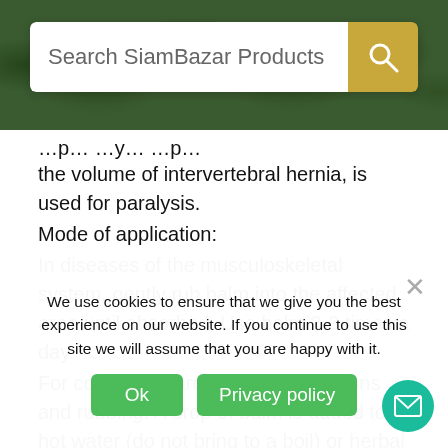[Figure (screenshot): Website header with dark green leafy background]
Search SiamBazar Products
the volume of intervertebral hernia, is used for paralysis.
Mode of application:
In diseases of the musculoskeletal system, gently rub balm into the affected area until absorbed. Use balm 2-3 times a day.
For colds, they are used as inhalations and rubbing. A drop of balm is added to hot water (do not bring to a boil) or herbal extract and cover with a towel.
Contraindications:
Individual intolerance. Hypersensitivity. Avoid contact with mucous membranes and eyes. Keep out of the reach of children.
We use cookies to ensure that we give you the best experience on our website. If you continue to use this site we will assume that you are happy with it.